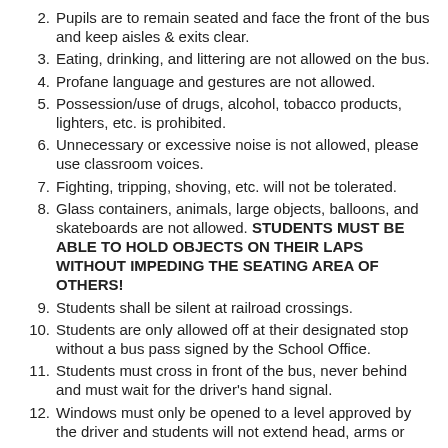2. Pupils are to remain seated and face the front of the bus and keep aisles & exits clear.
3. Eating, drinking, and littering are not allowed on the bus.
4. Profane language and gestures are not allowed.
5. Possession/use of drugs, alcohol, tobacco products, lighters, etc. is prohibited.
6. Unnecessary or excessive noise is not allowed, please use classroom voices.
7. Fighting, tripping, shoving, etc. will not be tolerated.
8. Glass containers, animals, large objects, balloons, and skateboards are not allowed. STUDENTS MUST BE ABLE TO HOLD OBJECTS ON THEIR LAPS WITHOUT IMPEDING THE SEATING AREA OF OTHERS!
9. Students shall be silent at railroad crossings.
10. Students are only allowed off at their designated stop without a bus pass signed by the School Office.
11. Students must cross in front of the bus, never behind and must wait for the driver's hand signal.
12. Windows must only be opened to a level approved by the driver and students will not extend head, arms or